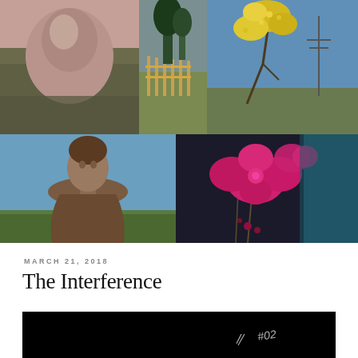[Figure (photo): Collage of five photographs: top row has three images (statue/rock with vegetation, rural fence scene, yellow flowering bush with power lines); bottom row has two images (classical bust sculpture outdoors, close-up of pink orchid flowers with teal background)]
MARCH 21, 2018
The Interference
[Figure (photo): Dark/black image with faint handwritten text reading approximately '#02' or similar in white/light color on the right side]